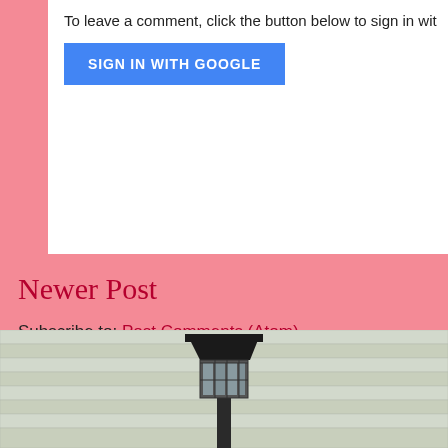To leave a comment, click the button below to sign in wit
SIGN IN WITH GOOGLE
Newer Post
Subscribe to: Post Comments (Atom)
Novelty Print Quilt Pattern
I have had a hard time finding good quilt patterns for novelty print so tha...
[Figure (photo): Outdoor lantern/lamp post against a light-colored horizontal siding background]